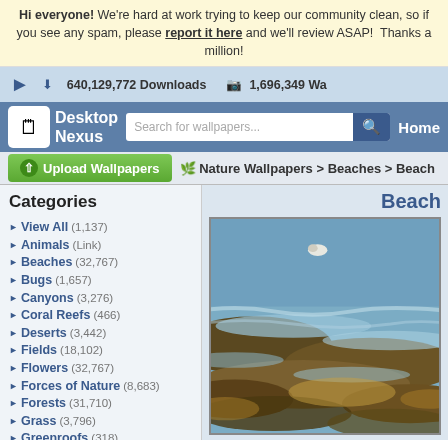Hi everyone! We're hard at work trying to keep our community clean, so if you see any spam, please report it here and we'll review ASAP! Thanks a million!
640,129,772 Downloads   1,696,349 Wa...
Desktop Nexus — Search for wallpapers... — Home
Upload Wallpapers
Nature Wallpapers > Beaches > Beach...
Categories
View All (1,137)
Animals (Link)
Beaches (32,767)
Bugs (1,657)
Canyons (3,276)
Coral Reefs (466)
Deserts (3,442)
Fields (18,102)
Flowers (32,767)
Forces of Nature (8,683)
Forests (31,710)
Grass (3,796)
Greenroofs (318)
Lakes (32,767)
Mountains (32,767)
Beach
[Figure (photo): Close-up photo of beach waves washing over sand and seaweed/rocks with blue water and golden/brown organic material, a bird visible in upper area]